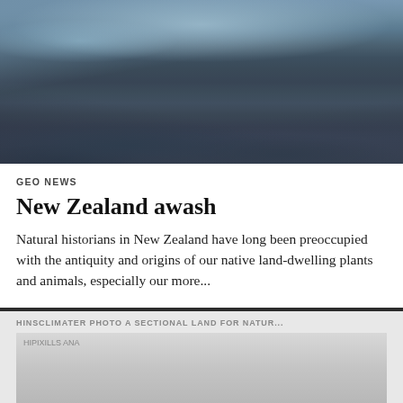[Figure (photo): Aerial or elevated landscape photograph of New Zealand rolling hills and plains, dark blue-grey tones, arid terrain with mesa formations in the distance]
GEO NEWS
New Zealand awash
Natural historians in New Zealand have long been preoccupied with the antiquity and origins of our native land-dwelling plants and animals, especially our more...
[Figure (photo): Partially visible second article card with greyed-out image placeholder, set on light grey background]